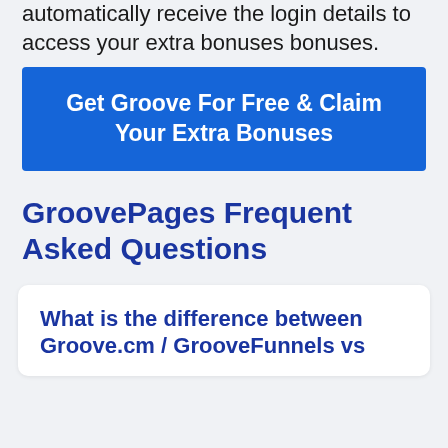automatically receive the login details to access your extra bonuses bonuses.
[Figure (other): Blue call-to-action button: Get Groove For Free & Claim Your Extra Bonuses]
GroovePages Frequent Asked Questions
What is the difference between Groove.cm / GrooveFunnels vs